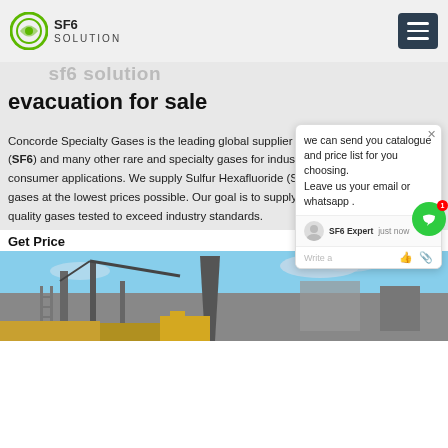SF6 SOLUTION
evacuation for sale
Concorde Specialty Gases is the leading global supplier of Sulfur Hexafluoride gas (SF6) and many other rare and specialty gases for industrial, commercial and consumer applications. We supply Sulfur Hexafluoride (SF6) and other specialty gases at the lowest prices possible. Our goal is to supply industry with the highest quality gases tested to exceed industry standards.
Get Price
[Figure (photo): Industrial facility with cranes and electrical infrastructure against a blue sky]